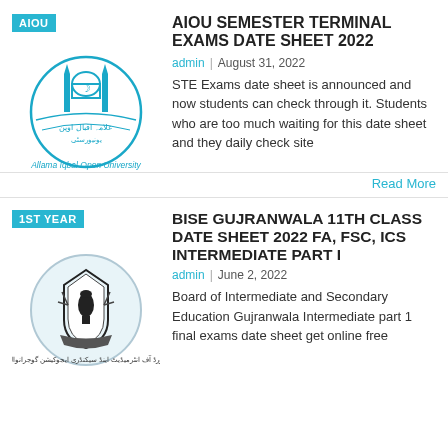[Figure (logo): AIOU (Allama Iqbal Open University) circular logo in blue with Urdu text and university name, with AIOU badge label]
AIOU SEMESTER TERMINAL EXAMS DATE SHEET 2022
admin | August 31, 2022
STE Exams date sheet is announced and now students can check through it. Students who are too much waiting for this date sheet and they daily check site
Read More
[Figure (logo): BISE Gujranwala circular logo in light blue/gray with black emblem and Urdu text, with 1ST YEAR badge label]
BISE GUJRANWALA 11TH CLASS DATE SHEET 2022 FA, FSC, ICS INTERMEDIATE PART I
admin | June 2, 2022
Board of Intermediate and Secondary Education Gujranwala Intermediate part 1 final exams date sheet get online free